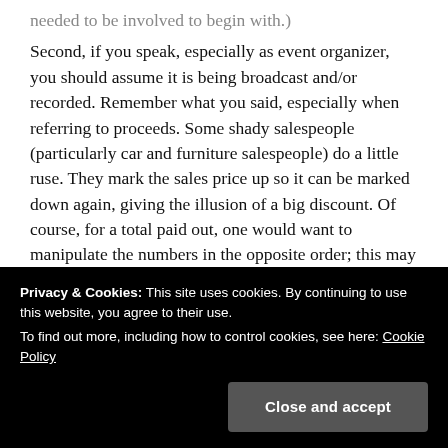needed to be involved to begin with.)
Second, if you speak, especially as event organizer, you should assume it is being broadcast and/or recorded. Remember what you said, especially when referring to proceeds. Some shady salespeople (particularly car and furniture salespeople) do a little ruse. They mark the sales price up so it can be marked down again, giving the illusion of a big discount. Of course, for a total paid out, one would want to manipulate the numbers in the opposite order; this may well have been what our community “leaders” were trying to do.
Privacy & Cookies: This site uses cookies. By continuing to use this website, you agree to their use.
To find out more, including how to control cookies, see here: Cookie Policy
certain members of the community), or that you find